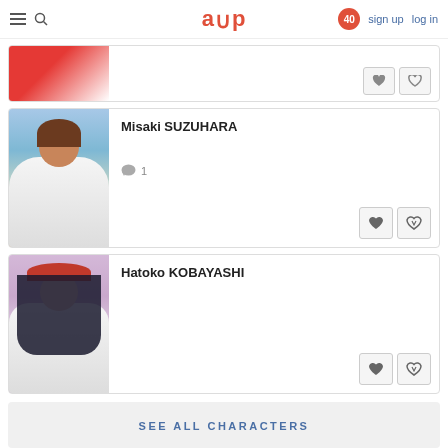aup  40  sign up  log in
[Figure (screenshot): Partial anime character card at top, showing red/white outfit, with two action buttons visible]
Misaki SUZUHARA
1 comment
[Figure (illustration): Anime character Misaki SUZUHARA with brown hair, blue eyes, white sailor uniform with blue accents]
Hatoko KOBAYASHI
[Figure (illustration): Anime character Hatoko KOBAYASHI with long black hair, red beret, white uniform]
SEE ALL CHARACTERS